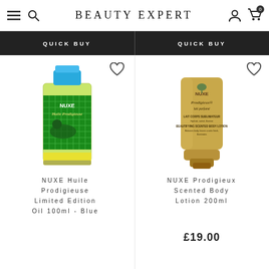BEAUTY EXPERT
QUICK BUY
QUICK BUY
[Figure (photo): NUXE Huile Prodigieuse Limited Edition Oil 100ml - Blue bottle with green label featuring swimmer illustration]
NUXE Huile Prodigieuse Limited Edition Oil 100ml - Blue
[Figure (photo): NUXE Prodigieux Scented Body Lotion 200ml - gold tube]
NUXE Prodigieux Scented Body Lotion 200ml
£19.00